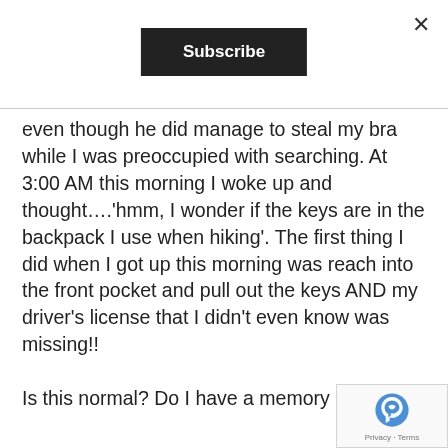Subscribe
even though he did manage to steal my bra while I was preoccupied with searching. At 3:00 AM this morning I woke up and thought….'hmm, I wonder if the keys are in the backpack I use when hiking'. The first thing I did when I got up this morning was reach into the front pocket and pull out the keys AND my driver's license that I didn't even know was missing!!

Is this normal? Do I have a memory problem?